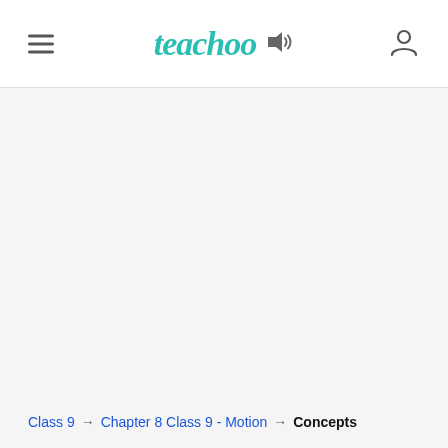teachoo
Class 9 → Chapter 8 Class 9 - Motion → Concepts